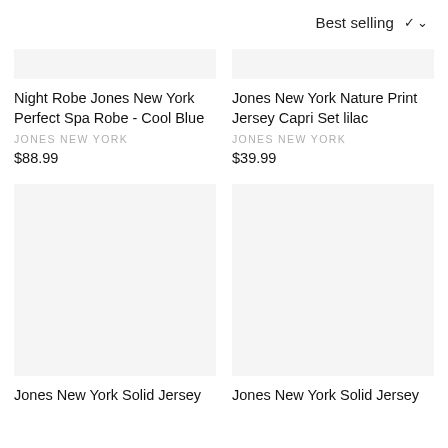Best selling ∨
Night Robe Jones New York Perfect Spa Robe - Cool Blue
JONES NEW YORK
$88.99
Jones New York Nature Print Jersey Capri Set lilac
JONES NEW YORK
$39.99
Jones New York Solid Jersey
Jones New York Solid Jersey